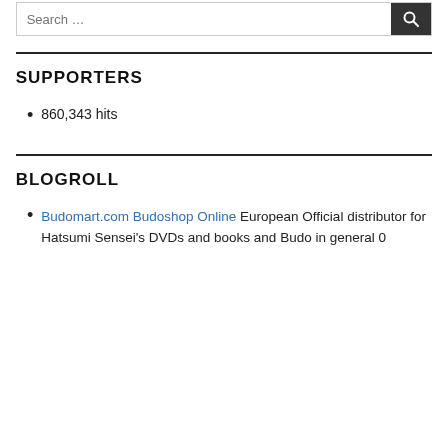Search …
SUPPORTERS
860,343 hits
BLOGROLL
Budomart.com Budoshop Online European Official distributor for Hatsumi Sensei's DVDs and books and Budo in general 0